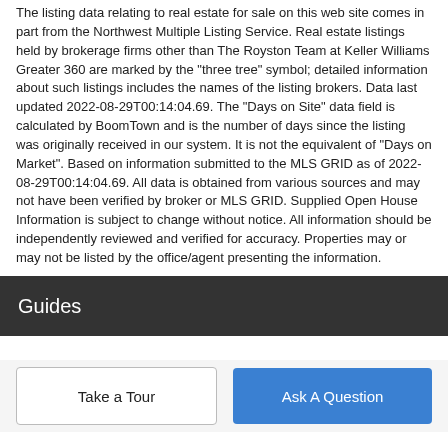The listing data relating to real estate for sale on this web site comes in part from the Northwest Multiple Listing Service. Real estate listings held by brokerage firms other than The Royston Team at Keller Williams Greater 360 are marked by the "three tree" symbol; detailed information about such listings includes the names of the listing brokers. Data last updated 2022-08-29T00:14:04.69. The "Days on Site" data field is calculated by BoomTown and is the number of days since the listing was originally received in our system. It is not the equivalent of "Days on Market". Based on information submitted to the MLS GRID as of 2022-08-29T00:14:04.69. All data is obtained from various sources and may not have been verified by broker or MLS GRID. Supplied Open House Information is subject to change without notice. All information should be independently reviewed and verified for accuracy. Properties may or may not be listed by the office/agent presenting the information.
Guides
Take a Tour
Ask A Question